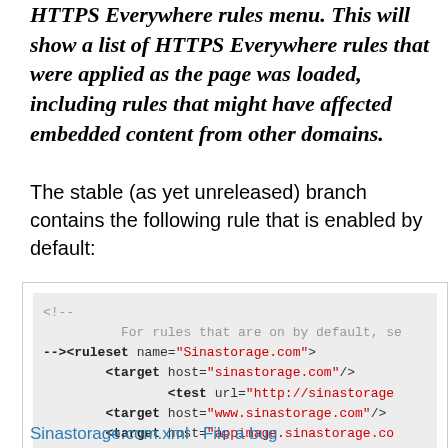HTTPS Everywhere rules menu. This will show a list of HTTPS Everywhere rules that were applied as the page was loaded, including rules that might have affected embedded content from other domains.
The stable (as yet unreleased) branch contains the following rule that is enabled by default:
[Figure (screenshot): Code block showing XML ruleset for Sinastorage.com with target hosts and rule redirecting http to https]
Sinastorage.com.xml   File a bug